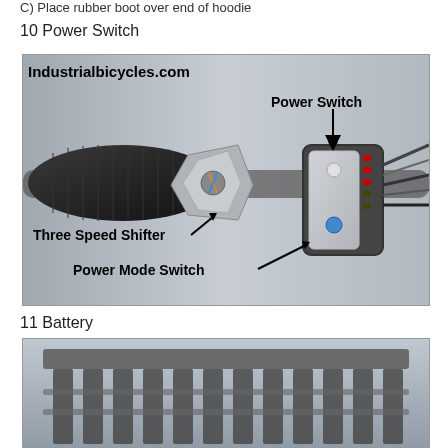C) Place rubber boot over end of hoodie
10 Power Switch
[Figure (photo): Photo of electric bicycle handlebar showing Three Speed Shifter, Power Switch, and Power Mode Switch with labeled arrows. Text overlay reads 'Industrialbicycles.com'.]
11 Battery
[Figure (photo): Partial photo of bicycle battery mount/rack, bottom portion visible.]